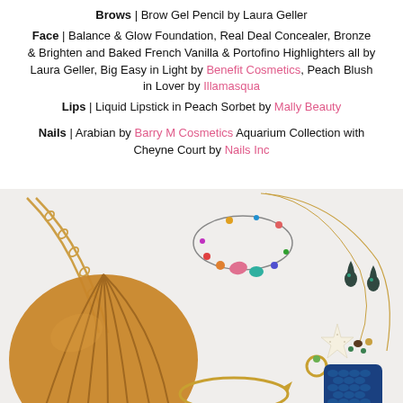Brows | Brow Gel Pencil by Laura Geller
Face | Balance & Glow Foundation, Real Deal Concealer, Bronze & Brighten and Baked French Vanilla & Portofino Highlighters all by Laura Geller, Big Easy in Light by Benefit Cosmetics, Peach Blush in Lover by Illamasqua
Lips | Liquid Lipstick in Peach Sorbet by Mally Beauty
Nails | Arabian by Barry M Cosmetics Aquarium Collection with Cheyne Court by Nails Inc
[Figure (photo): Flat lay of accessories including a gold shell-shaped clutch bag with chain strap, a colorful charm anklet/bracelet, two gold chain necklaces, a white starfish, a blue phone case, gold hoop earrings, and dark teardrop earrings on a white background.]